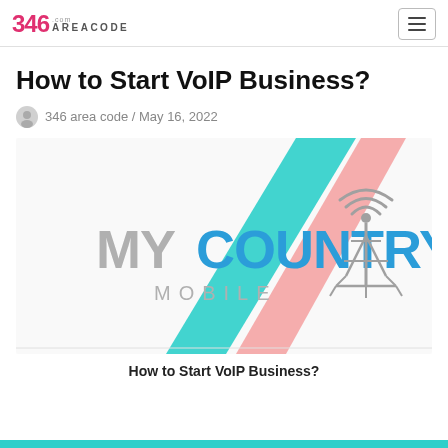346 Area Code .com
How to Start VoIP Business?
346 area code / May 16, 2022
[Figure (logo): My Country Mobile logo with cell tower graphic and diagonal cyan and pink stripes on a white background]
How to Start VoIP Business?